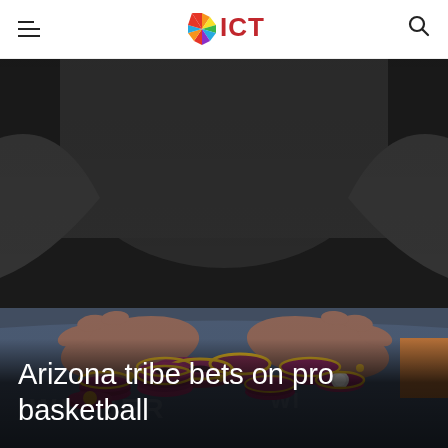ICT
[Figure (photo): Hands sweeping a pile of dark red and yellow casino poker chips on a casino table felt, person wearing dark sleeves in background]
Arizona tribe bets on pro basketball